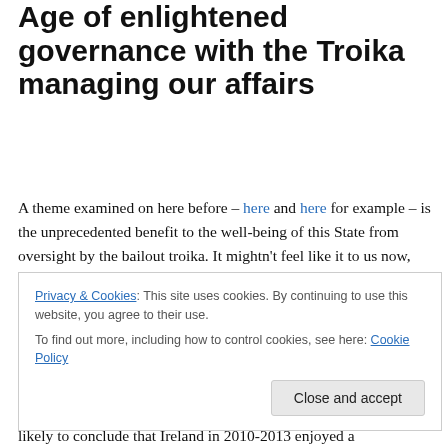We are living through a Golden Age of enlightened governance with the Troika managing our affairs
A theme examined on here before – here and here for example – is the unprecedented benefit to the well-being of this State from oversight by the bailout troika. It mightn't feel like it to us now, with austerity budget after austerity budget, a collapse in living standards, high unemployment, emigration and scary debts, but really this misses the
Privacy & Cookies: This site uses cookies. By continuing to use this website, you agree to their use.
To find out more, including how to control cookies, see here: Cookie Policy
likely to conclude that Ireland in 2010-2013 enjoyed a